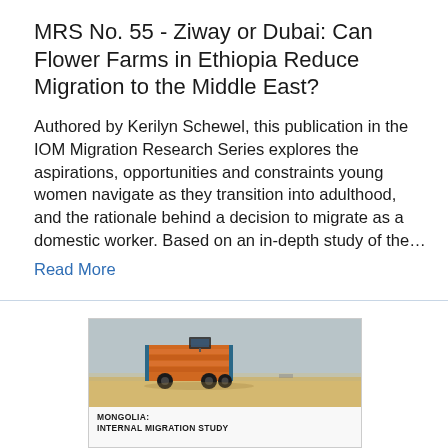MRS No. 55 - Ziway or Dubai: Can Flower Farms in Ethiopia Reduce Migration to the Middle East?
Authored by Kerilyn Schewel, this publication in the IOM Migration Research Series explores the aspirations, opportunities and constraints young women navigate as they transition into adulthood, and the rationale behind a decision to migrate as a domestic worker. Based on an in-depth study of the…
Read More
[Figure (photo): Book cover thumbnail showing a truck loaded with cargo on a desert landscape, with text 'MONGOLIA: INTERNAL MIGRATION STUDY']